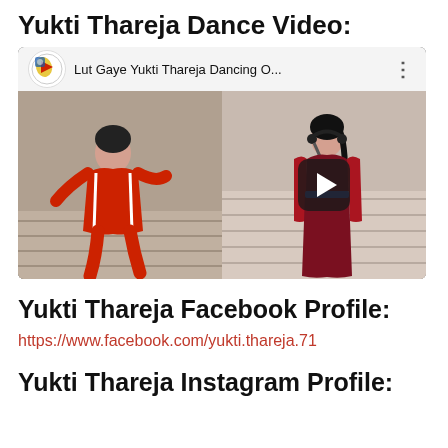Yukti Thareja Dance Video:
[Figure (screenshot): YouTube video thumbnail showing 'Lut Gaye Yukti Thareja Dancing O...' with two panels of a woman dancing in red outfit, and a play button overlay]
Yukti Thareja Facebook Profile:
https://www.facebook.com/yukti.thareja.71
Yukti Thareja Instagram Profile: